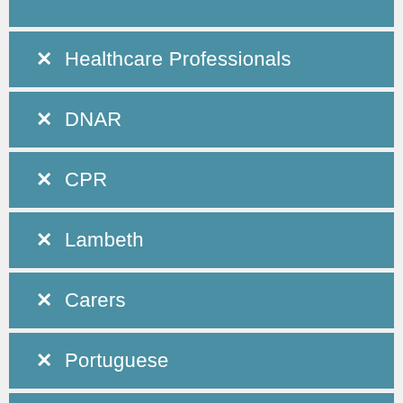✕ Healthcare Professionals
✕ DNAR
✕ CPR
✕ Lambeth
✕ Carers
✕ Portuguese
✕ My Life My Decision